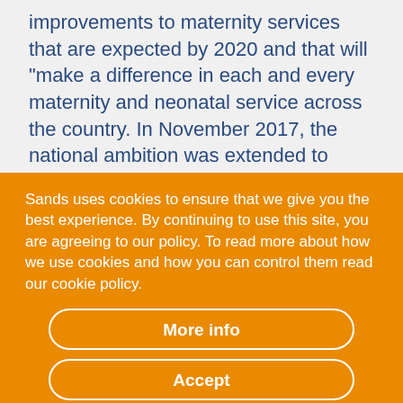improvements to maternity services that are expected by 2020 and that will “make a difference in each and every maternity and neonatal service across the country. In November 2017, the national ambition was extended to include reducing the national rate of pre-term births fro 8 to 6% and the
Sands uses cookies to ensure that we give you the best experience. By continuing to use this site, you are agreeing to our policy. To read more about how we use cookies and how you can control them read our cookie policy.
More info
Accept
No, thanks